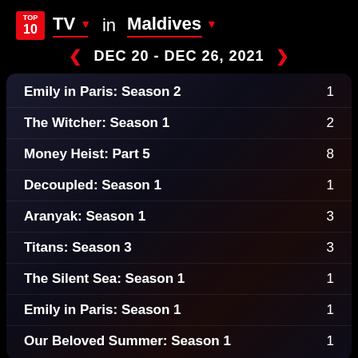TOP 10 TV ▾ in Maldives ▾
DEC 20 - DEC 26, 2021
Emily in Paris: Season 2
The Witcher: Season 1
Money Heist: Part 5
Decoupled: Season 1
Aranyak: Season 1
Titans: Season 3
The Silent Sea: Season 1
Emily in Paris: Season 1
Our Beloved Summer: Season 1
Download shareable images ↓